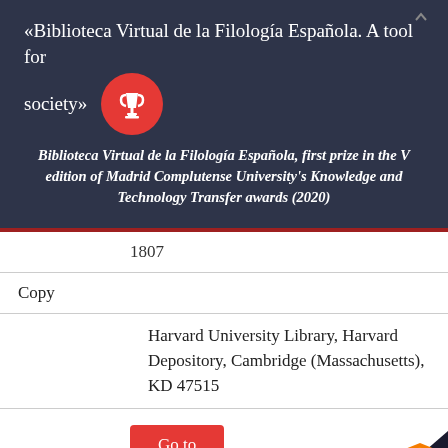«Biblioteca Virtual de la Filología Española. A tool for society»
[Figure (illustration): Red circle with white trophy icon]
Biblioteca Virtual de la Filología Española, first prize in the V edition of Madrid Complutense University's Knowledge and Technology Transfer awards (2020)
1807
Copy
Harvard University Library, Harvard Depository, Cambridge (Massachusetts), KD 47515
Go to
Observations
[Figure (logo): RSFirewall! Secured orange shield badge]